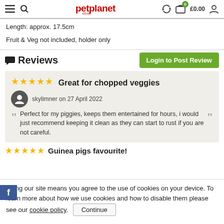petplanet.co.uk — £0.00
Length: approx. 17.5cm
Fruit & Veg not included, holder only
Reviews
Login to Post Review
★★★★★ Great for chopped veggies
skylimner on 27 April 2022
Perfect for my piggies, keeps them entertained for hours, i would just recommend keeping it clean as they can start to rust if you are not careful.
★★★★★ Guinea pigs favourite!
Using our site means you agree to the use of cookies on your device. To learn more about how we use cookies and how to disable them please see our cookie policy. Continue